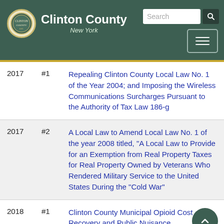Clinton County New York
| Year | # | Title |
| --- | --- | --- |
| 2017 | #1 | Repealing Clinton County Local Law No. 1 of the Year 2004; and Imposing the Wireless Communications Surcharges Pursuant to the Authority of Tax Law 186-g |
| 2017 | #2 | A Local Law to Amend Local Law No. 1 of the year 2008 titled, "A Local Law to Provide for an Exemption from Real Property Taxes for Real Property Owned by Veterans Who Rendered Military Service to the United States During the "Cold War" |
| 2018 | #1 | Clinton County Municipal Opioid Cost Recovery and Public Nuisance |